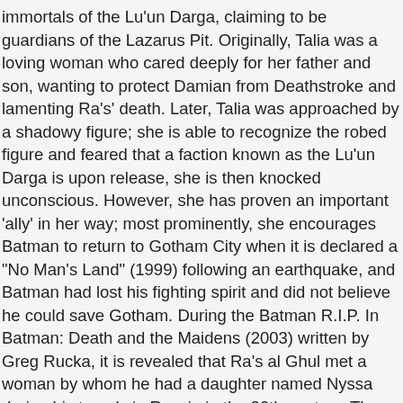immortals of the Lu'un Darga, claiming to be guardians of the Lazarus Pit. Originally, Talia was a loving woman who cared deeply for her father and son, wanting to protect Damian from Deathstroke and lamenting Ra's' death. Later, Talia was approached by a shadowy figure; she is able to recognize the robed figure and feared that a faction known as the Lu'un Darga is upon release, she is then knocked unconscious. However, she has proven an important 'ally' in her way; most prominently, she encourages Batman to return to Gotham City when it is declared a "No Man's Land" (1999) following an earthquake, and Batman had lost his fighting spirit and did not believe he could save Gotham. During the Batman R.I.P. In Batman: Death and the Maidens (2003) written by Greg Rucka, it is revealed that Ra's al Ghul met a woman by whom he had a daughter named Nyssa during his travels in Russia in the 20th century. The concept of Talia and Batman having a child from Son of the Demon is reinterpreted into continuity in the story Batman and Son (2006), written by Grant Morrison. Recent depictions have shown her to be